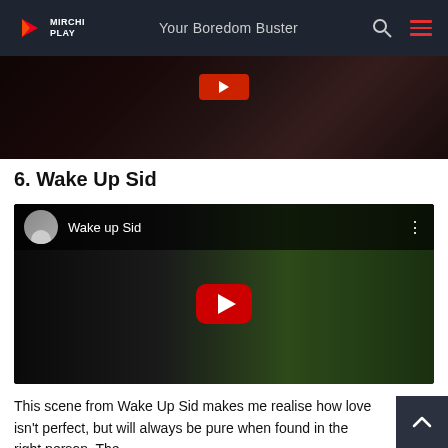Mirchi Play — Your Boredom Buster
[Figure (screenshot): Cropped bottom portion of a movie video thumbnail showing a blurry scene with a red play button overlay]
6. Wake Up Sid
[Figure (screenshot): YouTube video embed for 'Wake up Sid' with channel avatar, video title, three-dot menu, and YouTube play button over a dark movie scene]
This scene from Wake Up Sid makes me realise how love isn't perfect, but will always be pure when found in the right person. The